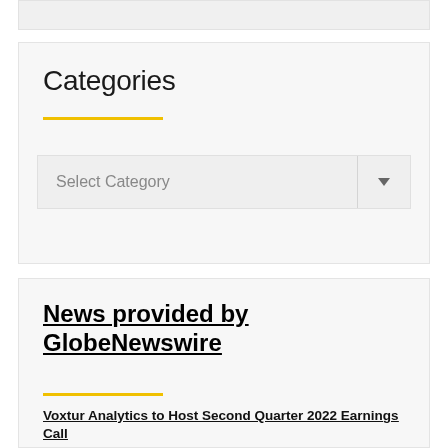Categories
Select Category
News provided by GlobeNewswire
Voxtur Analytics to Host Second Quarter 2022 Earnings Call